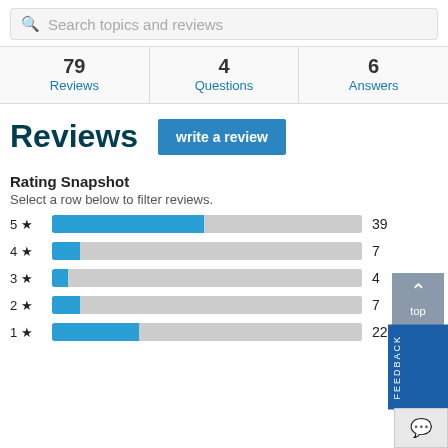Search topics and reviews
| 79 Reviews | 4 Questions | 6 Answers |
| --- | --- | --- |
Reviews
Rating Snapshot
Select a row below to filter reviews.
[Figure (bar-chart): Rating Snapshot]